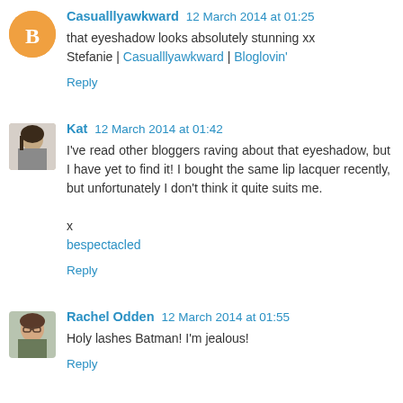Casualllyawkward 12 March 2014 at 01:25 — that eyeshadow looks absolutely stunning xx Stefanie | Casualllyawkward | Bloglovin' — Reply
Kat 12 March 2014 at 01:42 — I've read other bloggers raving about that eyeshadow, but I have yet to find it! I bought the same lip lacquer recently, but unfortunately I don't think it quite suits me. x bespectacled — Reply
Rachel Odden 12 March 2014 at 01:55 — Holy lashes Batman! I'm jealous! — Reply